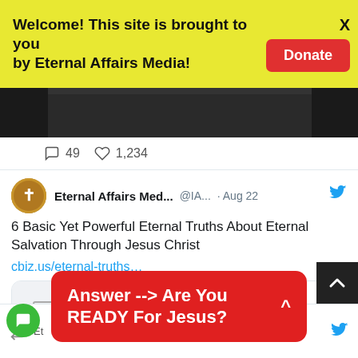Welcome! This site is brought to you by Eternal Affairs Media! [Donate] [X]
[Figure (screenshot): Partial dark image from a tweet, cropped at top]
49  1,234
[Figure (screenshot): Twitter/X post by Eternal Affairs Med... @IA... · Aug 22 — 6 Basic Yet Powerful Eternal Truths About Eternal Salvation Through Jesus Christ. Link: cbiz.us/eternal-truths… with link preview card from biselliano.info]
Answer --> Are You READY For Jesus?